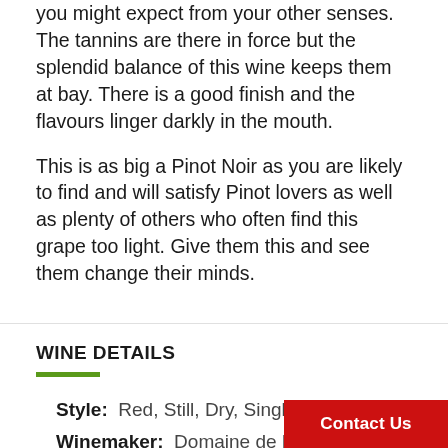you might expect from your other senses. The tannins are there in force but the splendid balance of this wine keeps them at bay. There is a good finish and the flavours linger darkly in the mouth.
This is as big a Pinot Noir as you are likely to find and will satisfy Pinot lovers as well as plenty of others who often find this grape too light. Give them this and see them change their minds.
WINE DETAILS
Style: Red, Still, Dry, Single Variety
Winemaker: Domaine de Mo...